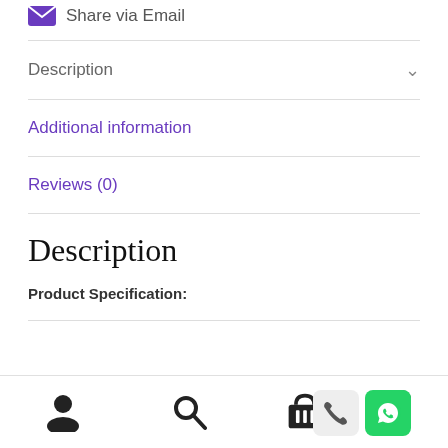Share via Email
Description
Additional information
Reviews (0)
Description
Product Specification: